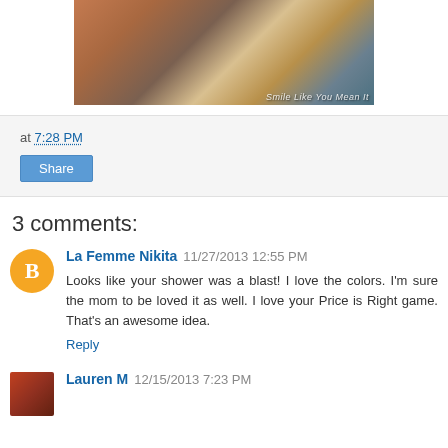[Figure (photo): Indoor party scene with women seated at tables in a living room, with text watermark 'Smile Like You Mean It']
at 7:28 PM
Share
3 comments:
La Femme Nikita  11/27/2013 12:55 PM
Looks like your shower was a blast! I love the colors. I'm sure the mom to be loved it as well. I love your Price is Right game. That's an awesome idea.
Reply
Lauren M  12/15/2013 7:23 PM